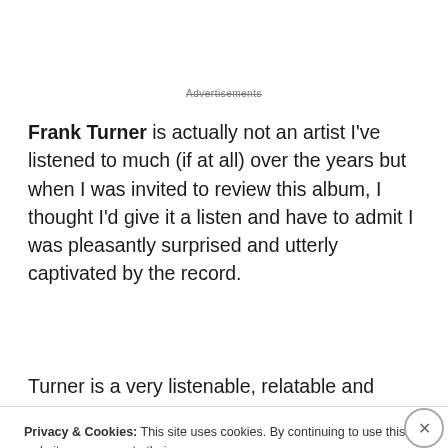Advertisements
Frank Turner is actually not an artist I've listened to much (if at all) over the years but when I was invited to review this album, I thought I'd give it a listen and have to admit I was pleasantly surprised and utterly captivated by the record.
Turner is a very listenable, relatable and matter-of-
Privacy & Cookies: This site uses cookies. By continuing to use this website, you agree to their use.
To find out more, including how to control cookies, see here: Cookie Policy
Close and accept